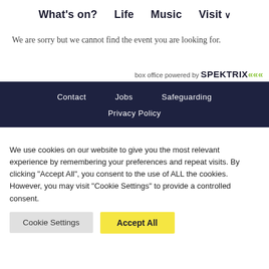What's on?  Life  Music  Visit
We are sorry but we cannot find the event you are looking for.
box office powered by SPEKTRIX
Contact  Jobs  Safeguarding  Privacy Policy
We use cookies on our website to give you the most relevant experience by remembering your preferences and repeat visits. By clicking "Accept All", you consent to the use of ALL the cookies. However, you may visit "Cookie Settings" to provide a controlled consent.
Cookie Settings  Accept All